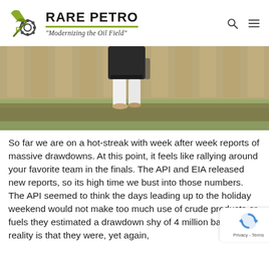[Figure (logo): Rare Petro logo with pickaxe and gear icon, brand name 'RARE PETRO' and tagline 'Modernizing the Oil Field']
[Figure (photo): Person in white pants and dark jacket walking near a wooden fence with grass on the ground]
So far we are on a hot-streak with week after week reports of massive drawdowns. At this point, it feels like rallying around your favorite team in the finals. The API and EIA released new reports, so its high time we bust into those numbers. The API seemed to think the days leading up to the holiday weekend would not make too much use of crude products or fuels they estimated a drawdown shy of 4 million barrels. The reality is that they were, yet again,